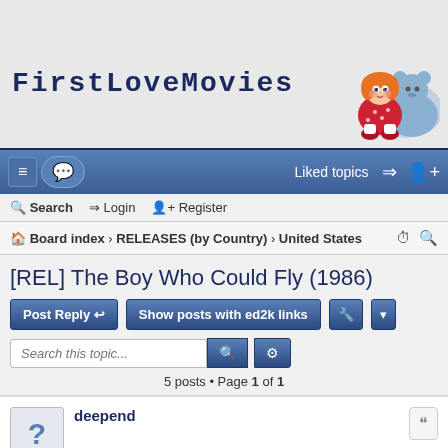FirstLoveMovies
Liked topics  Login  Register
Board index › RELEASES (by Country) › United States
[REL] The Boy Who Could Fly (1986)
Post Reply  Show posts with ed2k links
Search this topic...
5 posts • Page 1 of 1
deepend
[REL] The Boy Who Could Fly (1986)